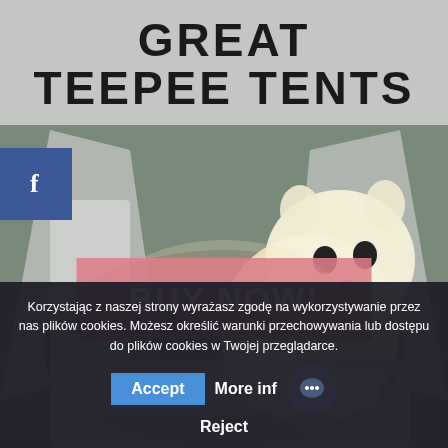GREAT TEEPEE TENTS
[Figure (photo): Photo of a children's teepee tent with lace curtains and a Hello Kitty stuffed animal inside, with pink and grey bedding]
BUY NOW!
Korzystając z naszej strony wyrażasz zgodę na wykorzystywanie przez nas plików cookies. Możesz określić warunki przechowywania lub dostępu do plików cookies w Twojej przeglądarce.
Accept   More info   Reject